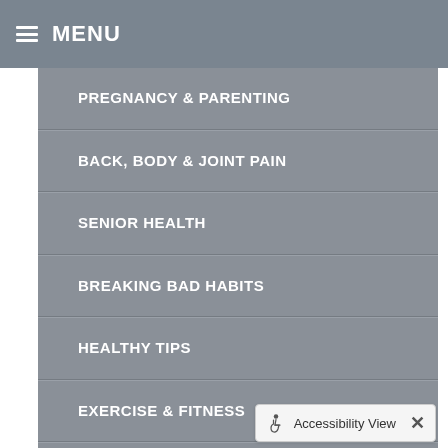MENU
PREGNANCY & PARENTING
BACK, BODY & JOINT PAIN
SENIOR HEALTH
BREAKING BAD HABITS
HEALTHY TIPS
EXERCISE & FITNESS
INJURY REHAB & PREVENTION
KID'S HEALTH
ILLNESS PREVENTION
Accessibility View